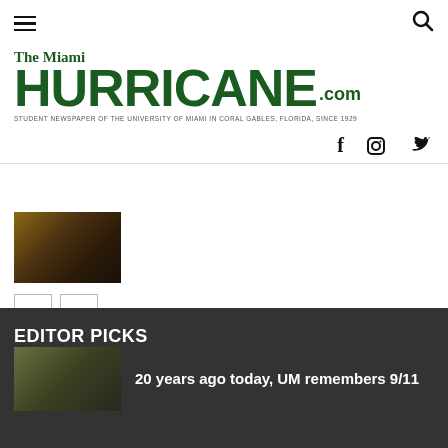The Miami Hurricane.com — Student Newspaper of the University of Miami in Coral Gables, Florida, Since 1929
[Figure (screenshot): Thumbnail image showing a dark wooden desk with a laptop screen, partial view]
[Figure (other): Navigation previous/next buttons]
EDITOR PICKS
20 years ago today, UM remembers 9/11